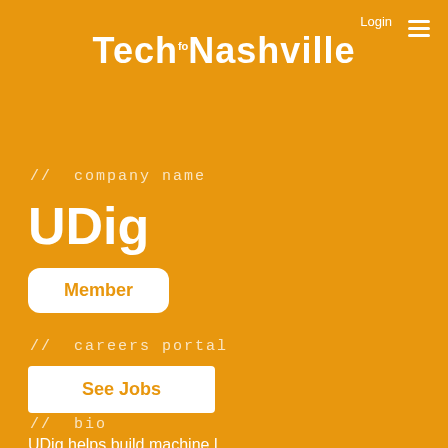Login
TechfoNashville
// company name
UDig
Member
// careers portal
See Jobs
// bio
UDig helps build machine l...